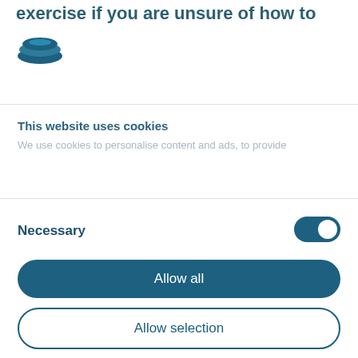exercise if you are unsure of how to
[Figure (logo): Cookiebot logo — teal/dark blue layered oval cookie icon]
This website uses cookies
We use cookies to personalise content and ads, to provide
Necessary
Allow all
Allow selection
Deny
Powered by Cookiebot by Usercentrics